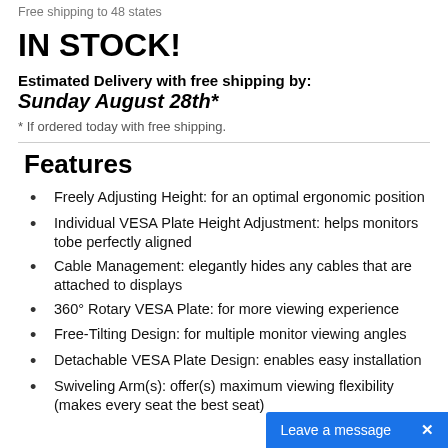Free shipping to 48 states
IN STOCK!
Estimated Delivery with free shipping by:
Sunday August 28th*
* If ordered today with free shipping.
Features
Freely Adjusting Height: for an optimal ergonomic position
Individual VESA Plate Height Adjustment: helps monitors tobe perfectly aligned
Cable Management: elegantly hides any cables that are attached to displays
360° Rotary VESA Plate: for more viewing experience
Free-Tilting Design: for multiple monitor viewing angles
Detachable VESA Plate Design: enables easy installation
Swiveling Arm(s): offer(s) maximum viewing flexibility (makes every seat the best seat)